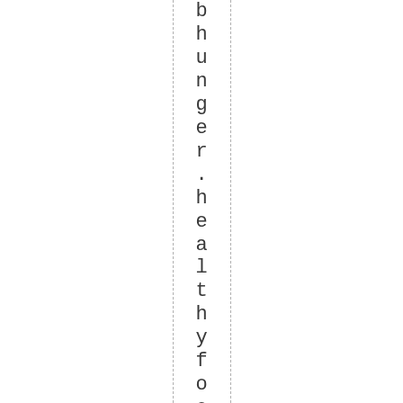b h u n g e r . h e a l t h y f o o d s . h u n g